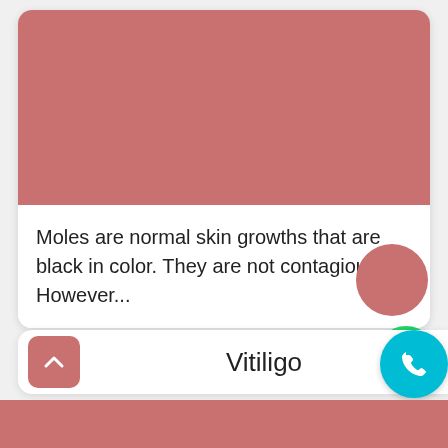[Figure (illustration): A mobile app card showing a large salmon/red-pink chevron/arrow shape pointing downward on a white card background]
Moles are normal skin growths that are black in color. They are not contagious. However...
[Figure (illustration): Green circle WhatsApp button icon]
[Figure (illustration): Pink/salmon colored circle button]
Vitiligo
[Figure (illustration): Teal/cyan circle phone call button icon]
[Figure (illustration): Red/salmon rounded square up-arrow button]